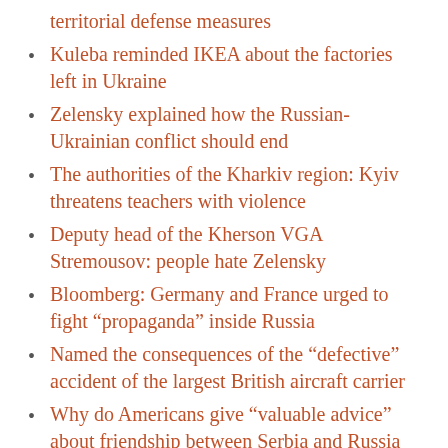territorial defense measures
Kuleba reminded IKEA about the factories left in Ukraine
Zelensky explained how the Russian-Ukrainian conflict should end
The authorities of the Kharkiv region: Kyiv threatens teachers with violence
Deputy head of the Kherson VGA Stremousov: people hate Zelensky
Bloomberg: Germany and France urged to fight “propaganda” inside Russia
Named the consequences of the “defective” accident of the largest British aircraft carrier
Why do Americans give “valuable advice” about friendship between Serbia and Russia
Political scientist Kashin predicted the conflict between Taiwan and China “more dangerous than Ukraine”